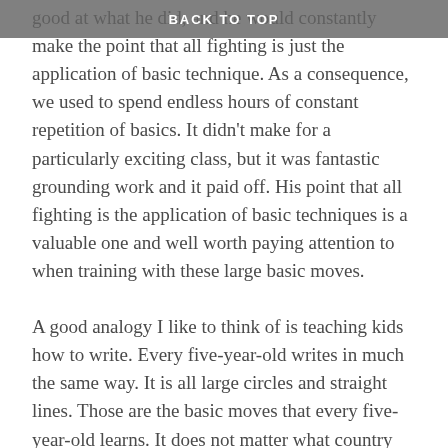BACK TO TOP
good at what he did, and he would constantly make the point that all fighting is just the application of basic technique. As a consequence, we used to spend endless hours of constant repetition of basics. It didn't make for a particularly exciting class, but it was fantastic grounding work and it paid off. His point that all fighting is the application of basic techniques is a valuable one and well worth paying attention to when training with these large basic moves.
A good analogy I like to think of is teaching kids how to write. Every five-year-old writes in much the same way. It is all large circles and straight lines. Those are the basic moves that every five-year-old learns. It does not matter what country they're from or what language they're writing in. If they are using Arabic script, it's circles and straight lines, and they all do it the same. Nobody ever gives them a hard time, saying “You'll never get your thesis written if you're writing like that.” It's just understood that